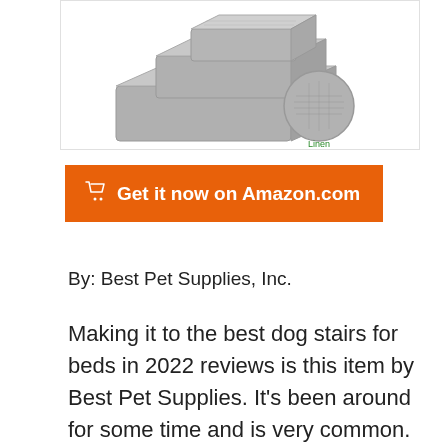[Figure (photo): A gray linen-fabric dog stair/step product shown at angle with a circular fabric swatch labeled 'Linen' below it]
Get it now on Amazon.com
By: Best Pet Supplies, Inc.
Making it to the best dog stairs for beds in 2022 reviews is this item by Best Pet Supplies. It's been around for some time and is very common. You'll see it in homes, animal clinics, and also in travel.